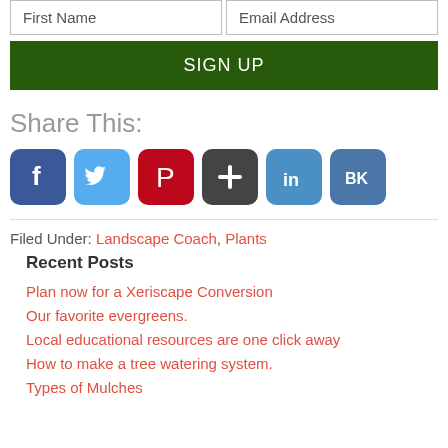First Name | Email Address
SIGN UP
Share This:
[Figure (other): Social share icons: Facebook, Twitter, Pinterest, Google+, LinkedIn, VK]
Filed Under: Landscape Coach, Plants
Recent Posts
Plan now for a Xeriscape Conversion
Our favorite evergreens.
Local educational resources are one click away
How to make a tree watering system.
Types of Mulches